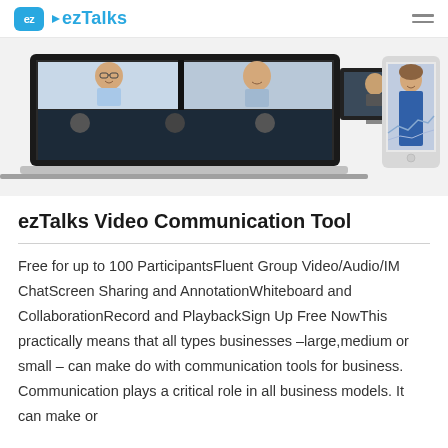ezTalks
[Figure (photo): Screenshot of ezTalks video conferencing application showing a laptop with a multi-participant video call grid and a tablet showing a woman in a blue blazer, with a monitor in the background.]
ezTalks Video Communication Tool
Free for up to 100 ParticipantsFluent Group Video/Audio/IM ChatScreen Sharing and AnnotationWhiteboard and CollaborationRecord and PlaybackSign Up Free NowThis practically means that all types businesses –large,medium or small – can make do with communication tools for business. Communication plays a critical role in all business models. It can make or